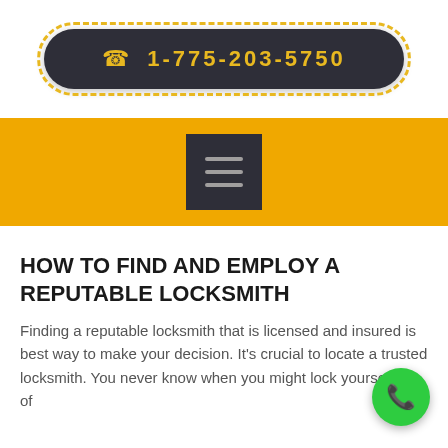[Figure (other): Dark pill-shaped button with dashed yellow border containing a phone icon and phone number 1-775-203-5750 in yellow text on dark background]
[Figure (other): Yellow navigation bar with dark square hamburger menu icon (three horizontal lines)]
HOW TO FIND AND EMPLOY A REPUTABLE LOCKSMITH
Finding a reputable locksmith that is licensed and insured is best way to make your decision. It's crucial to locate a trusted locksmith. You never know when you might lock yourself out of your home or car. You'll want to have someone you can trust on the phone.